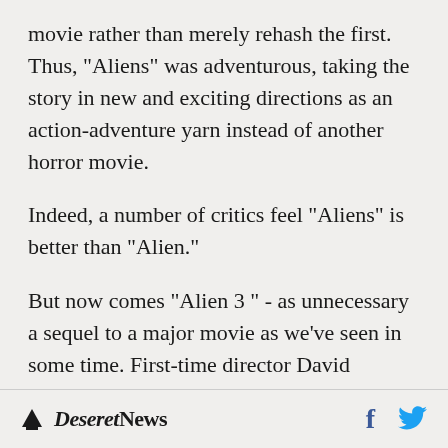movie rather than merely rehash the first. Thus, "Aliens" was adventurous, taking the story in new and exciting directions as an action-adventure yarn instead of another horror movie.
Indeed, a number of critics feel "Aliens" is better than "Alien."
But now comes "Alien 3 " - as unnecessary a sequel to a major movie as we've seen in some time. First-time director David Fincher and four writers have created another horror movie, attempting existential overtones as they make the alien in this film Ripley's "Moby Dick."
Deseret News